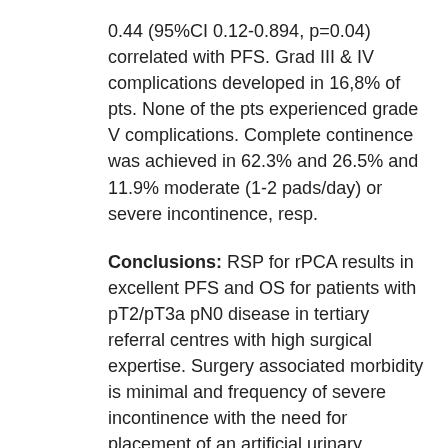0.44 (95%CI 0.12-0.894, p=0.04) correlated with PFS. Grad III & IV complications developed in 16,8% of pts. None of the pts experienced grade V complications. Complete continence was achieved in 62.3% and 26.5% and 11.9% moderate (1-2 pads/day) or severe incontinence, resp.
Conclusions: RSP for rPCA results in excellent PFS and OS for patients with pT2/pT3a pN0 disease in tertiary referral centres with high surgical expertise. Surgery associated morbidity is minimal and frequency of severe incontinence with the need for placement of an artificial urinary sphincter is low. RSP remains a relevant second line treatment with curative intent for rPCA and it needs to be considered more often. Source of
Funding: None